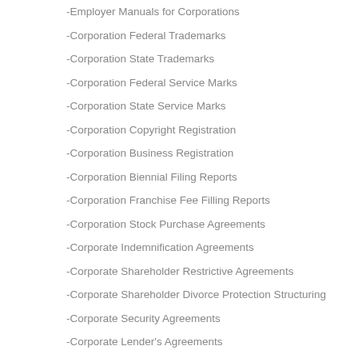-Employer Manuals for Corporations
-Corporation Federal Trademarks
-Corporation State Trademarks
-Corporation Federal Service Marks
-Corporation State Service Marks
-Corporation Copyright Registration
-Corporation Business Registration
-Corporation Biennial Filing Reports
-Corporation Franchise Fee Filling Reports
-Corporation Stock Purchase Agreements
-Corporate Indemnification Agreements
-Corporate Shareholder Restrictive Agreements
-Corporate Shareholder Divorce Protection Structuring
-Corporate Security Agreements
-Corporate Lender's Agreements